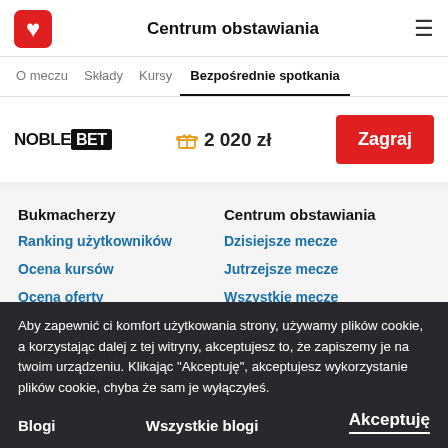Centrum obstawiania
O meczu | Składy | Kursy | Bezpośrednie spotkania
[Figure (logo): NobleBet logo with gift icon and 2 020 zł bonus and Zagraj button]
Bukmacherzy
Ranking użytkowników
Ocena kursów
Ocena oferty
Ocena zakładów na żywo
Ocena E-Sports
Bukmacherzy sportowi
Centrum obstawiania
Dzisiejsze mecze
Jutrzejsze mecze
Wszystkie mecze
Aby zapewnić ci komfort użytkowania strony, używamy plików cookie, a korzystając dalej z tej witryny, akceptujesz to, że zapiszemy je na twoim urządzeniu. Klikając "Akceptuję", akceptujesz wykorzystanie plików cookie, chyba że sam je wyłączyłeś.
Blogi
Wszystkie blogi
Akceptuję